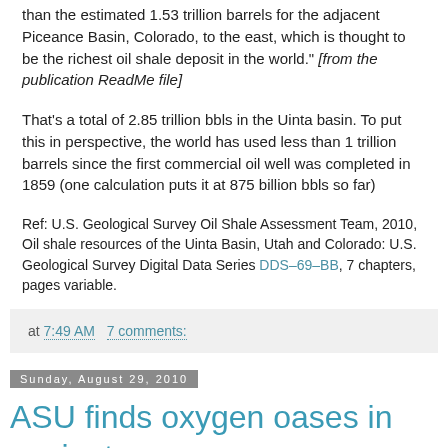than the estimated 1.53 trillion barrels for the adjacent Piceance Basin, Colorado, to the east, which is thought to be the richest oil shale deposit in the world." [from the publication ReadMe file]
That's a total of 2.85 trillion bbls in the Uinta basin. To put this in perspective, the world has used less than 1 trillion barrels since the first commercial oil well was completed in 1859 (one calculation puts it at 875 billion bbls so far)
Ref: U.S. Geological Survey Oil Shale Assessment Team, 2010, Oil shale resources of the Uinta Basin, Utah and Colorado: U.S. Geological Survey Digital Data Series DDS–69–BB, 7 chapters, pages variable.
at 7:49 AM   7 comments:
Sunday, August 29, 2010
ASU finds oxygen oases in ancient oceans